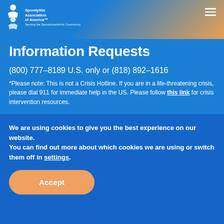Spondylitis Association of America™ — Serving the Spondyloarthritis Community
Information Requests
(800) 777-8189 U.S. only or (818) 892-1616
*Please note: This is not a Crisis Hotline. If you are in a life-threatening crisis, please dial 911 for immediate help in the US. Please follow this link for crisis intervention resources.
Give With Confidence
We are using cookies to give you the best experience on our website.
You can find out more about which cookies we are using or switch them off in settings.
Accept